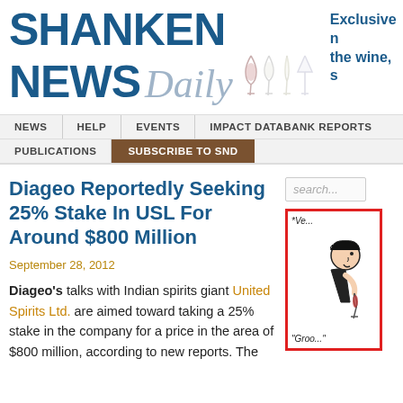SHANKEN NEWS Daily
Exclusive n the wine, s
NEWS  HELP  EVENTS  IMPACT DATABANK REPORTS  PUBLICATIONS  SUBSCRIBE TO SND
Diageo Reportedly Seeking 25% Stake In USL For Around $800 Million
September 28, 2012
Diageo's talks with Indian spirits giant United Spirits Ltd. are aimed toward taking a 25% stake in the company for a price in the area of $800 million, according to new reports. The
[Figure (illustration): Cartoon wine tasting illustration with red border, showing a man drinking wine, labeled 'Ve...' at top and 'Groo...' at bottom]